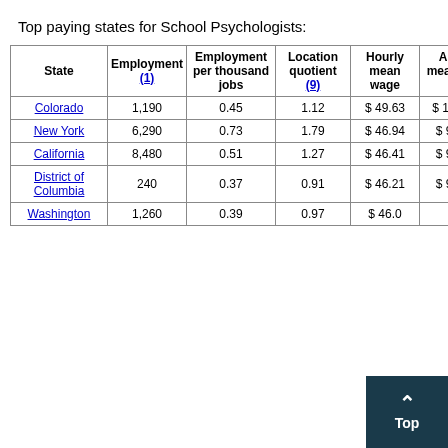Top paying states for School Psychologists:
| State | Employment (1) | Employment per thousand jobs | Location quotient (9) | Hourly mean wage | Annual mean wage (2) |
| --- | --- | --- | --- | --- | --- |
| Colorado | 1,190 | 0.45 | 1.12 | $ 49.63 | $ 103,240 |
| New York | 6,290 | 0.73 | 1.79 | $ 46.94 | $ 97,640 |
| California | 8,480 | 0.51 | 1.27 | $ 46.41 | $ 96,530 |
| District of Columbia | 240 | 0.37 | 0.91 | $ 46.21 | $ 96,120 |
| Washington | 1,260 | 0.39 | 0.97 | $ 46.0… | $ … |